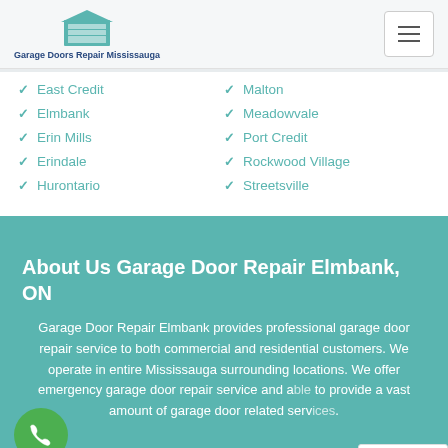Garage Doors Repair Mississauga
East Credit
Elmbank
Erin Mills
Erindale
Hurontario
Malton
Meadowvale
Port Credit
Rockwood Village
Streetsville
About Us Garage Door Repair Elmbank, ON
Garage Door Repair Elmbank provides professional garage door repair service to both commercial and residential customers. We operate in entire Mississauga surrounding locations. We offer emergency garage door repair service and are able to provide a vast amount of garage door related services.